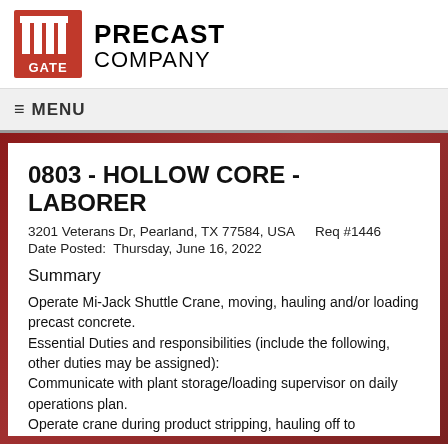[Figure (logo): Gate Precast Company logo with red square grid icon and company name text]
≡ MENU
0803 - HOLLOW CORE - LABORER
3201 Veterans Dr, Pearland, TX 77584, USA    Req #1446
Date Posted:  Thursday, June 16, 2022
Summary
Operate Mi-Jack Shuttle Crane, moving, hauling and/or loading precast concrete.
Essential Duties and responsibilities (include the following, other duties may be assigned):
Communicate with plant storage/loading supervisor on daily operations plan.
Operate crane during product stripping, hauling off to